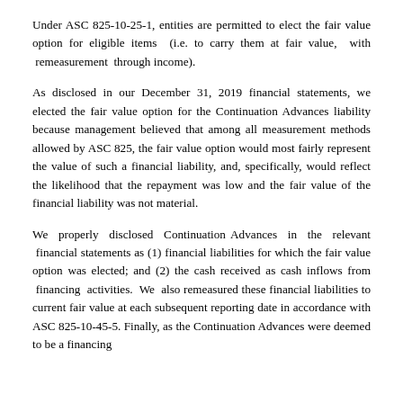Under ASC 825-10-25-1, entities are permitted to elect the fair value option for eligible items (i.e. to carry them at fair value, with remeasurement through income).
As disclosed in our December 31, 2019 financial statements, we elected the fair value option for the Continuation Advances liability because management believed that among all measurement methods allowed by ASC 825, the fair value option would most fairly represent the value of such a financial liability, and, specifically, would reflect the likelihood that the repayment was low and the fair value of the financial liability was not material.
We properly disclosed Continuation Advances in the relevant financial statements as (1) financial liabilities for which the fair value option was elected; and (2) the cash received as cash inflows from financing activities. We also remeasured these financial liabilities to current fair value at each subsequent reporting date in accordance with ASC 825-10-45-5. Finally, as the Continuation Advances were deemed to be a financing